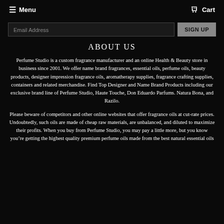Menu   Cart
Email Address   SIGN UP
ABOUT US
Perfume Studio is a custom fragrance manufacturer and an online Health & Beauty store in business since 2001. We offer name brand fragrances, essential oils, perfume oils, beauty products, designer impression fragrance oils, aromatherapy supplies, fragrance crafting supplies, containers and related merchandise. Find Top Designer and Name Brand Products including our exclusive brand line of Perfume Studio, Haute Touche, Don Eduardo Parfums. Natura Bona, and Razilo.
Please beware of competitors and other online websites that offer fragrance oils at cut-rate prices. Undoubtedly, such oils are made of cheap raw materials, are unbalanced, and diluted to maximize their profits. When you buy from Perfume Studio, you may pay a little more, but you know you’re getting the highest quality premium perfume oils made from the best natural essential oils